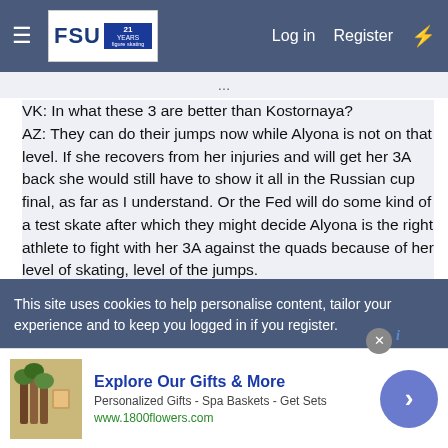FSU forum navigation bar with Log in, Register links
VK: In what these 3 are better than Kostornaya?
AZ: They can do their jumps now while Alyona is not on that level. If she recovers from her injuries and will get her 3A back she would still have to show it all in the Russian cup final, as far as I understand. Or the Fed will do some kind of a test skate after which they might decide Alyona is the right athlete to fight with her 3A against the quads because of her level of skating, level of the jumps.

VK: Can't Tuktamysheva?
AZ: Don't do that.
This site uses cookies to help personalise content, tailor your experience and to keep you logged in if you register.
[Figure (screenshot): Advertisement banner for 1800flowers.com - Explore Our Gifts & More, Personalized Gifts - Spa Baskets - Get Sets]